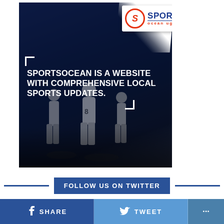[Figure (illustration): SportsOcean UG promotional image with dark blue background, soccer players silhouette, logo at top right, and tagline text reading 'SPORTSOCEAN IS A WEBSITE WITH COMPREHENSIVE LOCAL SPORTS UPDATES.']
FOLLOW US ON TWITTER
SHARE
TWEET
...